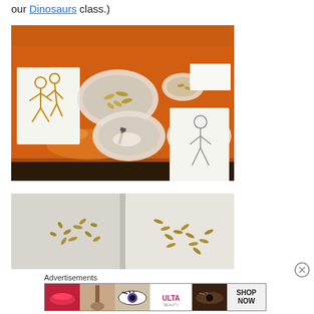our Dinosaurs class.)
[Figure (photo): Overhead view of orange table with bowls of pasta, children's stick figure drawings, glue, and a paintbrush — a craft activity setup.]
[Figure (photo): Close-up split image showing pasta pieces arranged on a light surface, forming shapes or letters.]
Advertisements
[Figure (photo): ULTA beauty advertisement banner featuring makeup and beauty images with SHOP NOW call to action.]